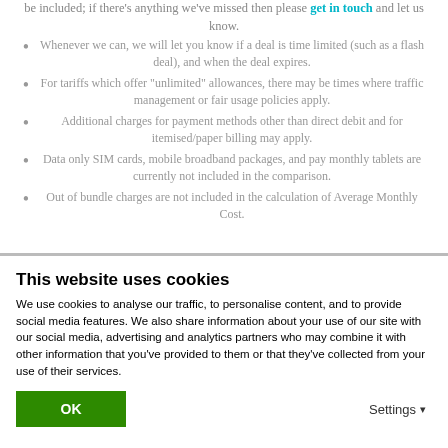be included; if there’s anything we’ve missed then please get in touch and let us know.
Whenever we can, we will let you know if a deal is time limited (such as a flash deal), and when the deal expires.
For tariffs which offer "unlimited" allowances, there may be times where traffic management or fair usage policies apply.
Additional charges for payment methods other than direct debit and for itemised/paper billing may apply.
Data only SIM cards, mobile broadband packages, and pay monthly tablets are currently not included in the comparison.
Out of bundle charges are not included in the calculation of Average Monthly Cost.
This website uses cookies
We use cookies to analyse our traffic, to personalise content, and to provide social media features. We also share information about your use of our site with our social media, advertising and analytics partners who may combine it with other information that you’ve provided to them or that they’ve collected from your use of their services.